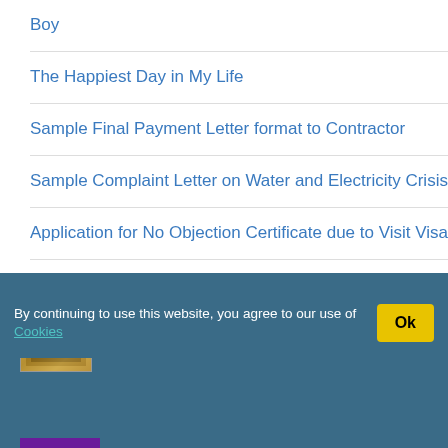Boy
The Happiest Day in My Life
Sample Final Payment Letter format to Contractor
Sample Complaint Letter on Water and Electricity Crisis
Application for No Objection Certificate due to Visit Visa
More Post
By continuing to use this website, you agree to our use of Cookies
[Figure (photo): Book cover thumbnail for The Caliph And The Cad]
The Caliph And The Cad